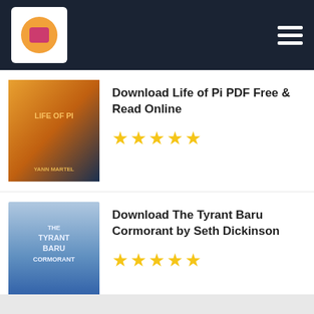Site header with logo and hamburger menu
Download Life of Pi PDF Free & Read Online — 5 stars (filled)
Download The Tyrant Baru Cormorant by Seth Dickinson — 5 stars (filled)
Download La sombra del pasado by Lulu Taylor — 5 stars (empty)
Download Una última parada by Casey McQuiston — 5 stars (empty)